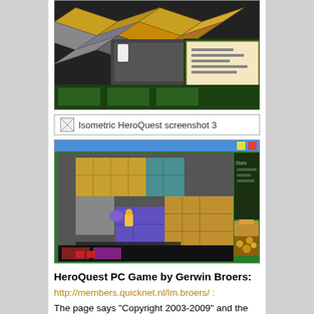[Figure (screenshot): Isometric HeroQuest game screenshot showing dungeon tiles with various textures including gold, stone, and decorative patterns. A game UI panel is visible in the bottom right corner.]
[Figure (screenshot): Isometric HeroQuest screenshot 3 - alt text placeholder image]
[Figure (screenshot): Top-down HeroQuest PC game screenshot showing dungeon rooms with colored floor tiles (purple, blue, green), a character sprite, treasure chest, and green game interface border with HUD elements at the bottom.]
HeroQuest PC Game by Gerwin Broers:
http://members.quicknet.nl/lm.broers/ :
The page says "Copyright 2003-2009" and the latest release is labeled 2012-07-11.  This one gives a full view of the